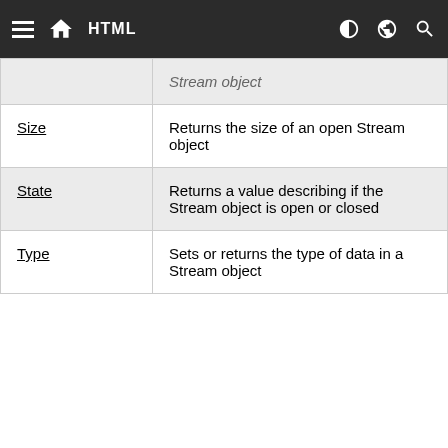HTML
| Property | Description |
| --- | --- |
| Stream object |  |
| Size | Returns the size of an open Stream object |
| State | Returns a value describing if the Stream object is open or closed |
| Type | Sets or returns the type of data in a Stream object |